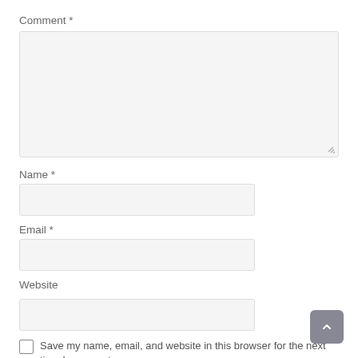Comment *
Name *
Email *
Website
Save my name, email, and website in this browser for the next time I comment.
Post Comment